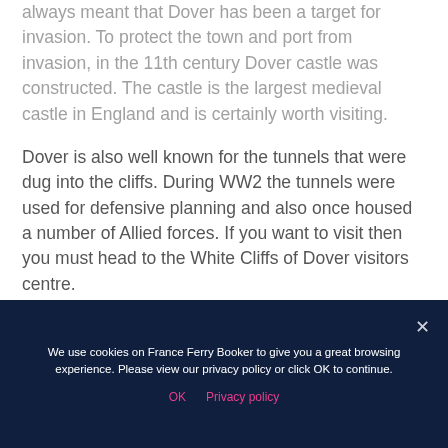always meant that Dover has been a target for invasion. To protect the town and port from invasion, in the 11th century Dover castle was constructed. The castle is the largest medieval castle in England and is certainly worth visiting.
Dover is also well known for the tunnels that were dug into the cliffs. During WW2 the tunnels were used for defensive planning and also once housed a number of Allied forces. If you want to visit then you must head to the White Cliffs of Dover visitors centre.
We use cookies on France Ferry Booker to give you a great browsing experience. Please view our privacy policy or click OK to continue.
OK   Privacy policy